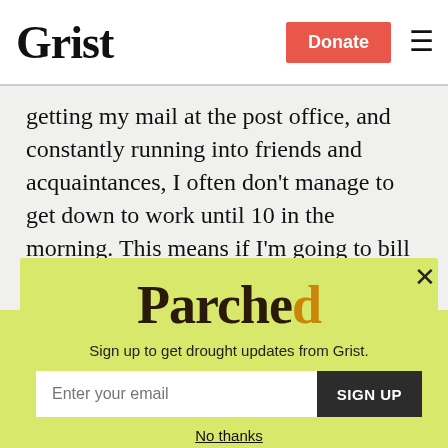Grist | Donate
getting my mail at the post office, and constantly running into friends and acquaintances, I often don't manage to get down to work until 10 in the morning. This means if I'm going to bill eight hours I've got to work until 6 p.m. straight without taking a lunch. Ouch!
[Figure (other): Parched newsletter signup modal with yellow-green background. Shows 'Parched' logo text, tagline 'Sign up to get drought updates from Grist.', an email input field, a SIGN UP button, and a 'No thanks' link. A close (X) button is in the top right corner.]